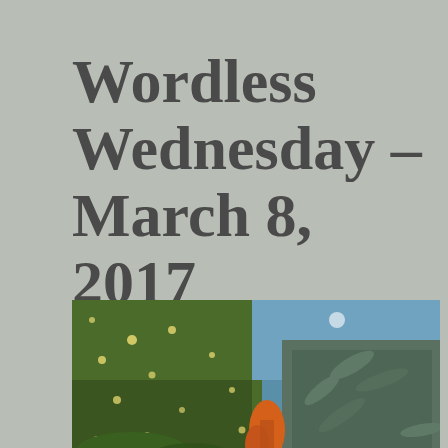Wordless Wednesday – March 8, 2017
[Figure (photo): Outdoor garden scene showing green moss or grass on the left with golden light spots, blue sky with reflections, orange flower or plant element in the lower center, and silvery-green leafy shrub on the right.]